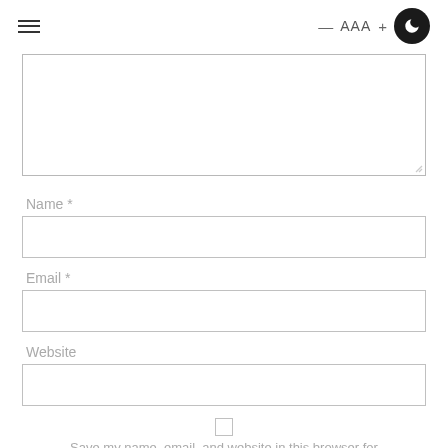≡  —  AAA  +  🌙
[Figure (screenshot): Large textarea input box for comment text]
Name *
[Figure (screenshot): Name input field]
Email *
[Figure (screenshot): Email input field]
Website
[Figure (screenshot): Website input field]
[Figure (screenshot): Checkbox]
Save my name, email, and website in this browser for